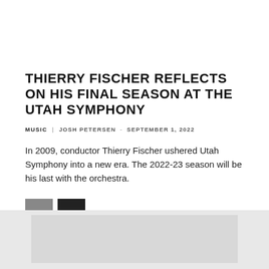THIERRY FISCHER REFLECTS ON HIS FINAL SEASON AT THE UTAH SYMPHONY
MUSIC | JOSH PETERSEN - SEPTEMBER 1, 2022
In 2009, conductor Thierry Fischer ushered Utah Symphony into a new era. The 2022-23 season will be his last with the orchestra.
[Figure (other): Navigation buttons: previous (gray) and next (dark/black) arrow buttons]